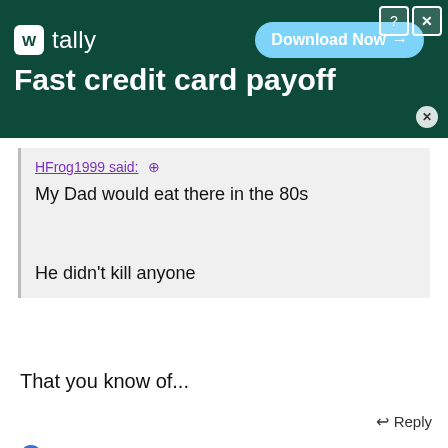[Figure (screenshot): Tally app advertisement banner with dark green background, logo, tagline 'Fast credit card payoff', and 'Download Now' button with help and close controls]
HFrog1999 said: ⊕
My Dad would eat there in the 80s
He didn't kill anyone
That you know of...
↩ Reply
gohornedfrogs and HFrog1999
[Figure (screenshot): Second Tally app advertisement banner with white background, green logo, tagline 'Fast credit card payoff', and dark green 'Download Now' button]